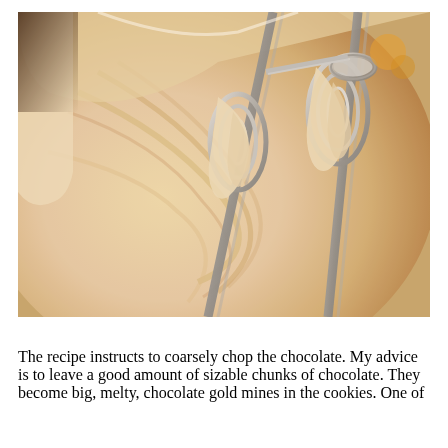[Figure (photo): Close-up photo of electric hand mixer beaters covered in creamy batter/dough inside a white mixing bowl, viewed from above.]
The recipe instructs to coarsely chop the chocolate. My advice is to leave a good amount of sizable chunks of chocolate. They become big, melty, chocolate gold mines in the cookies. One of the most amazing things on the planet.